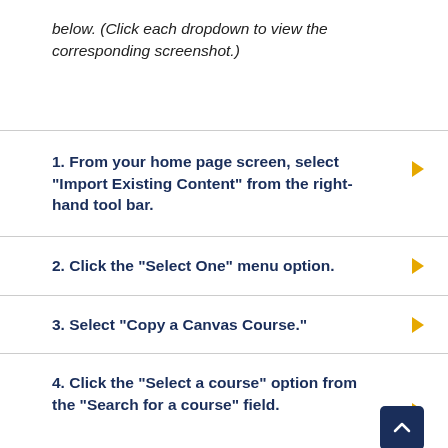below. (Click each dropdown to view the corresponding screenshot.)
1. From your home page screen, select “Import Existing Content” from the right-hand tool bar.
2. Click the “Select One” menu option.
3. Select “Copy a Canvas Course.”
4. Click the “Select a course” option from the “Search for a course” field.